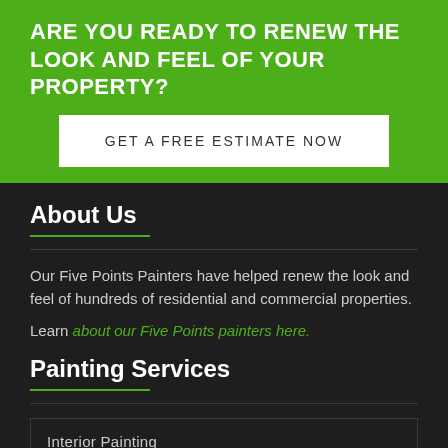ARE YOU READY TO RENEW THE LOOK AND FEEL OF YOUR PROPERTY?
GET A FREE ESTIMATE NOW
About Us
Our Five Points Painters have helped renew the look and feel of hundreds of residential and commercial properties.
Learn about our Five Points painters here.
Painting Services
Interior Painting
Exterior Painting